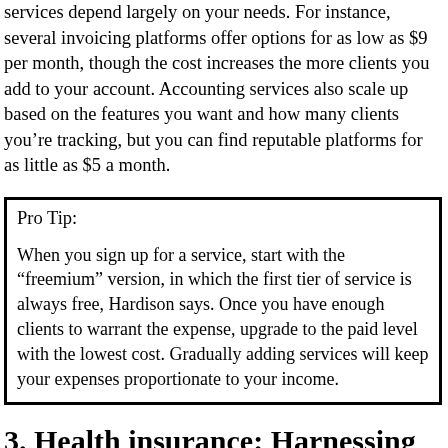services depend largely on your needs. For instance, several invoicing platforms offer options for as low as $9 per month, though the cost increases the more clients you add to your account. Accounting services also scale up based on the features you want and how many clients you’re tracking, but you can find reputable platforms for as little as $5 a month.
Pro Tip:

When you sign up for a service, start with the “freemium” version, in which the first tier of service is always free, Hardison says. Once you have enough clients to warrant the expense, upgrade to the paid level with the lowest cost. Gradually adding services will keep your expenses proportionate to your income.
3. Health insurance: Harnessing an